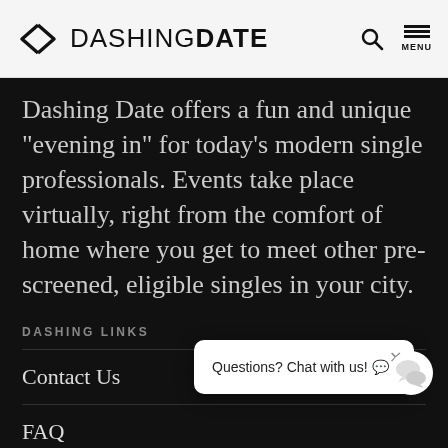DASHING DATE
Dashing Date offers a fun and unique “evening in” for today’s modern single professionals. Events take place virtually, right from the comfort of home where you get to meet other pre-screened, eligible singles in your city.
DASHING LINKS
Contact Us
FAQ
About Us
Questions? Chat with us! 💬